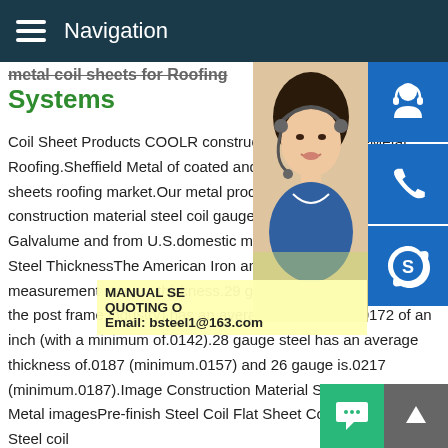Navigation
Metal Coil Sheets for Roofing Systems
Coil Sheet Products COOLR construction metal gaugeMetal Roofing.Sheffield Metal of coated and bare metal coils and sheets roofing market.Our metal products are pro Galvalume construction material steel coil gauge#174;,acrylic-coated Galvalume and from U.S.domestic mills.Were always striv Talk Steel ThicknessThe American Iron and publishes the accepted measurement standards for steel thickness.29 gauge steel (the standard in the post frame industry) has an average thickness of.0172 of an inch (with a minimum of.0142).28 gauge steel has an average thickness of.0187 (minimum.0157) and 26 gauge is.0217 (minimum.0187).Image Construction Material Steel Coil Sheet Metal imagesPre-finish Steel Coil Flat Sheet Coated Metal Game Steel coil
[Figure (photo): Woman with headset customer service photo]
[Figure (infographic): Blue icon buttons: headset, phone, Skype]
MANUAL SE QUOTING O Email: bsteel1@163.com